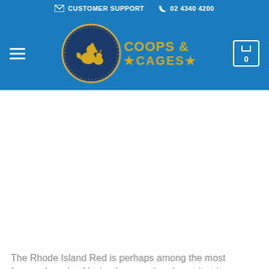CUSTOMER SUPPORT  02 4340 4200
[Figure (logo): Coops & Cages logo: circular emblem with rooster and rabbit silhouettes in gold on dark blue, with text 'COOPS & *CAGES*' in gold lettering]
The Rhode Island Red is perhaps among the most famous breeds of laying hens — the almost it at it, are among the